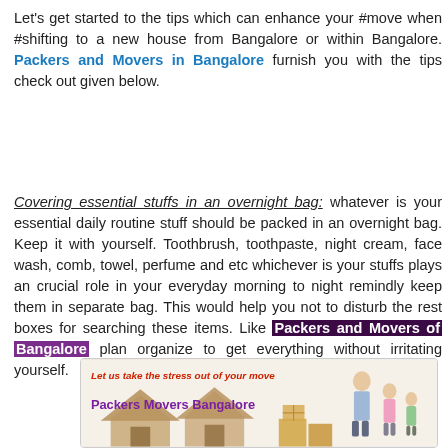Let's get started to the tips which can enhance your #move when #shifting to a new house from Bangalore or within Bangalore. Packers and Movers in Bangalore furnish you with the tips check out given below.
Covering essential stuffs in an overnight bag: whatever is your essential daily routine stuff should be packed in an overnight bag. Keep it with yourself. Toothbrush, toothpaste, night cream, face wash, comb, towel, perfume and etc whichever is your stuffs plays an crucial role in your everyday morning to night remindly keep them in separate bag. This would help you not to disturb the rest boxes for searching these items. Like Packers and Movers of Bangalore plan organize to get everything without irritating yourself.
[Figure (illustration): Advertisement image for Packers Movers Bangalore showing a family with moving boxes and house shapes. Red italic text reads 'Let us take the stress out of your move' and purple bold text reads 'Packers Movers Bangalore'.]